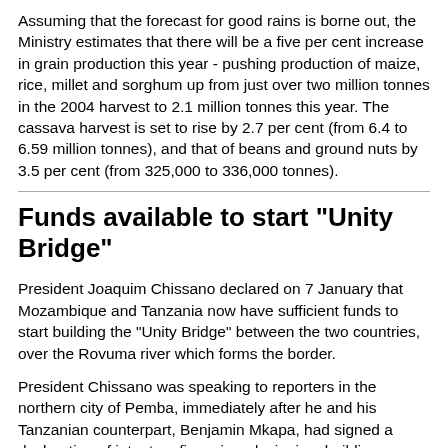Assuming that the forecast for good rains is borne out, the Ministry estimates that there will be a five per cent increase in grain production this year - pushing production of maize, rice, millet and sorghum up from just over two million tonnes in the 2004 harvest to 2.1 million tonnes this year. The cassava harvest is set to rise by 2.7 per cent (from 6.4 to 6.59 million tonnes), and that of beans and ground nuts by 3.5 per cent (from 325,000 to 336,000 tonnes).
Funds available to start "Unity Bridge"
President Joaquim Chissano declared on 7 January that Mozambique and Tanzania now have sufficient funds to start building the "Unity Bridge" between the two countries, over the Rovuma river which forms the border.
President Chissano was speaking to reporters in the northern city of Pemba, immediately after he and his Tanzanian counterpart, Benjamin Mkapa, had signed a declaration of intent on financing, designing, building, operating and maintaining the bridge.